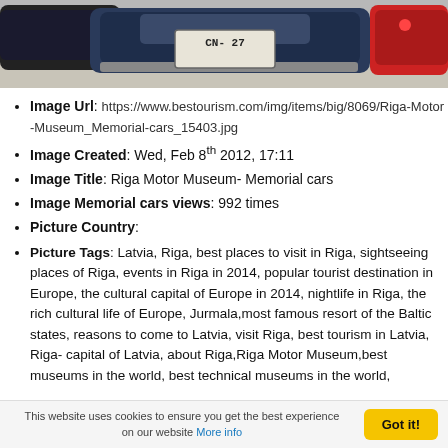[Figure (photo): Photo of a vintage car with license plate CN-27, viewed from the rear, inside what appears to be the Riga Motor Museum.]
Image Url: https://www.bestourism.com/img/items/big/8069/Riga-Motor-Museum_Memorial-cars_15403.jpg
Image Created: Wed, Feb 8th 2012, 17:11
Image Title: Riga Motor Museum- Memorial cars
Image Memorial cars views: 992 times
Picture Country:
Picture Tags: Latvia, Riga, best places to visit in Riga, sightseeing places of Riga, events in Riga in 2014, popular tourist destination in Europe, the cultural capital of Europe in 2014, nightlife in Riga, the rich cultural life of Europe, Jurmala,most famous resort of the Baltic states, reasons to come to Latvia, visit Riga, best tourism in Latvia, Riga- capital of Latvia, about Riga,Riga Motor Museum,best museums in the world, best technical museums in the world,
RIGA MOTOR MUSEUM MEMORIAL CARS
This website uses cookies to ensure you get the best experience on our website More info
Got it!